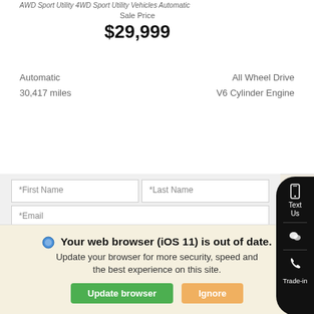AWD Sport Utility 4WD Sport Utility Vehicles Automatic
Sale Price
$29,999
Automatic
30,417 miles
All Wheel Drive
V6 Cylinder Engine
*First Name
*Last Name
*Email
Phone
Tell us more about your inquiry
Text Us
Trade-in
Available via text?
Yes   No
Your web browser (iOS 11) is out of date. Update your browser for more security, speed and the best experience on this site.
Update browser
Ignore